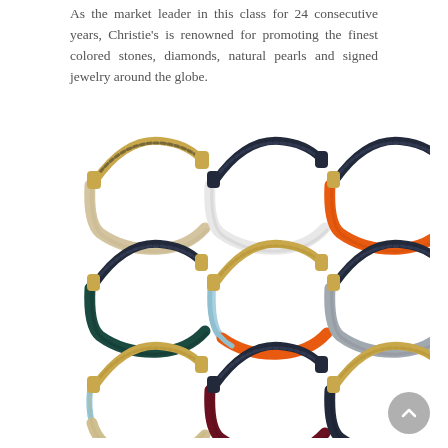As the market leader in this class for 24 consecutive years, Christie's is renowned for promoting the finest colored stones, diamonds, natural pearls and signed jewelry around the globe.
[Figure (photo): A 3x3 grid of decorative bracelets on white background. Top row: cream/beige bracelet, white/navy bracelet, orange/navy bracelet. Middle row: dark teal/navy bracelet, light blue/orange bracelet, gray/navy bracelet. Bottom row: light blue/beige bracelet, dark red/navy bracelet, gold/navy bracelet.]